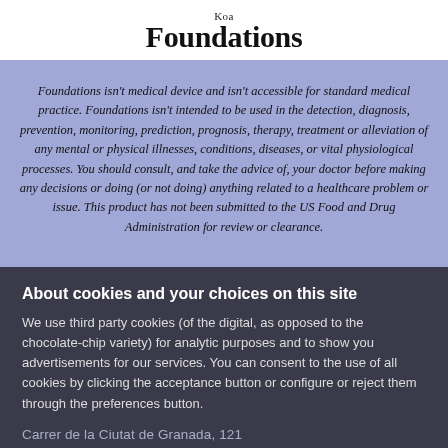Koa Foundations
Foundations isn't medical device and isn't accessible for standard medical practice. Foundations isn't intended to be used in the detection, diagnosis, prevention, monitoring, prediction, prognosis, therapy, treatment or alleviation of any mental or physical illnesses, conditions, diseases, or vital physiological processes. You should consult, and take the advice of, your doctor before making any decisions or doing (or not doing) anything related to a healthcare problem or issue. This product has not been submitted to the US Food and Drug Administration for review or clearance.
About cookies and your choices on this site
We use third party cookies (of the digital, as opposed to the chocolate-chip variety) for analytic purposes and to show you advertisements for our services. You can consent to the use of all cookies by clicking the acceptance button or configure or reject them through the preferences button.
Accept
Cookie preferences
Carrer de la Ciutat de Granada, 121